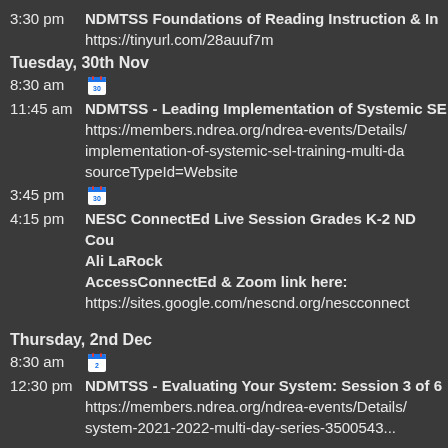3:30 pm  NDMTSS Foundations of Reading Instruction & In
https://tinyurl.com/28auuf7m
Tuesday, 30th Nov
8:30 am  [Google Calendar icon]
11:45 am NDMTSS - Leading Implementation of Systemic SE
https://members.ndrea.org/ndrea-events/Details/
implementation-of-systemic-sel-training-multi-da
sourceTypeId=Website
3:45 pm  [Google Calendar icon]
4:15 pm  NESC ConnectEd Live Session Grades K-2 ND Cou
Ali LaRock
AccessConnectEd & Zoom link here:
https://sites.google.com/nescnd.org/nescconnect
Thursday, 2nd Dec
8:30 am  [Google Calendar icon]
12:30 pm NDMTSS - Evaluating Your System: Session 3 of 6
https://members.ndrea.org/ndrea-events/Details/
system-2021-2022-multi-day-series-3500543...